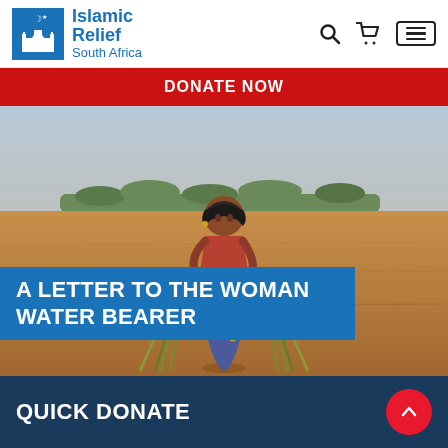Islamic Relief South Africa
DONATE NOW
[Figure (photo): A woman standing in a dry, arid landscape with sparse vegetation in the background. She is wearing a red top and a patterned skirt, looking off to the side. Bundles of grass or straw are visible in the foreground.]
A LETTER TO THE WOMAN WATER BEARER
QUICK DONATE